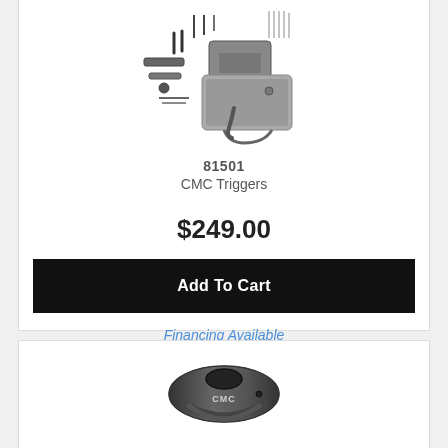[Figure (photo): CMC Triggers firearm trigger group parts kit including springs, pins, trigger, hammer, and components arranged on white background]
81501
CMC Triggers
$249.00
Add To Cart
Financing Available
[Figure (photo): CMC branded low profile gas block for AR-style rifle, black finish, shown from front angle]